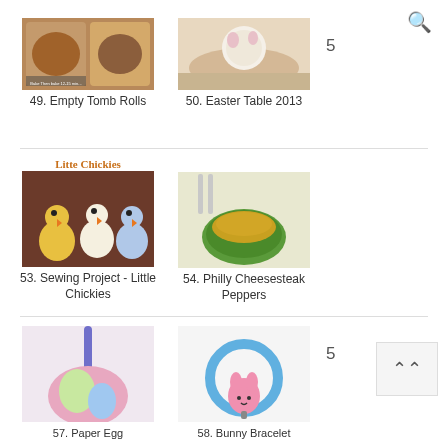[Figure (screenshot): Website screenshot showing a grid of Easter/Spring themed blog post thumbnails with titles and numbers. Includes: 49. Empty Tomb Rolls, 50. Easter Table 2013, 53. Sewing Project - Little Chickies, 54. Philly Cheesesteak Peppers, 57. Paper Egg, 58. Bunny Bracelet. Search icon top right, back-to-top button bottom right.]